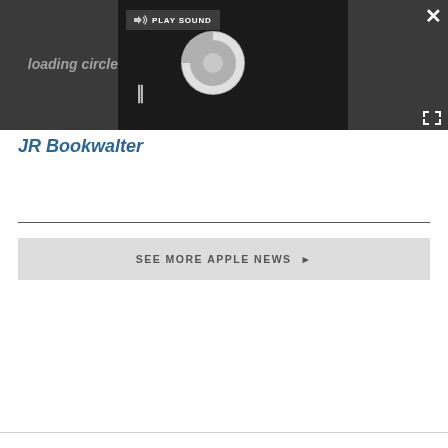[Figure (screenshot): Media player overlay on dark background showing a loading spinner, pause button (||), and a 'PLAY SOUND' tooltip with speaker icon in top-left of player area. A close (×) button is in the top-right corner of the dark bar, and an expand/fullscreen icon in the bottom-right.]
JR Bookwalter
SEE MORE APPLE NEWS ▶